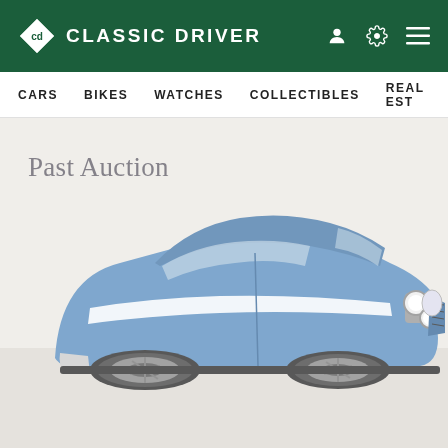CLASSIC DRIVER — CARS  BIKES  WATCHES  COLLECTIBLES  REAL EST
Past Auction
[Figure (photo): A blue Ford Escort Mk1 rally-prepared car with white side stripe and rally lights on the front bumper, photographed in a white studio setting. The car faces slightly right with alloy wheels visible. Text overlay reads 'Past Auction'.]